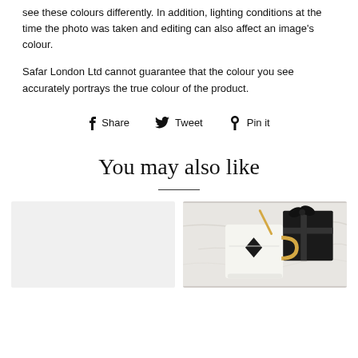see these colours differently. In addition, lighting conditions at the time the photo was taken and editing can also affect an image's colour.
Safar London Ltd cannot guarantee that the colour you see accurately portrays the true colour of the product.
f Share   ᵥ Tweet   ℗ Pin it
You may also like
[Figure (photo): Two product image cards side by side. Left card shows a light grey empty product placeholder. Right card shows a photo of a white and gold mug with black geometric diamond pattern, alongside a black gift box with ribbon, on a marble surface.]